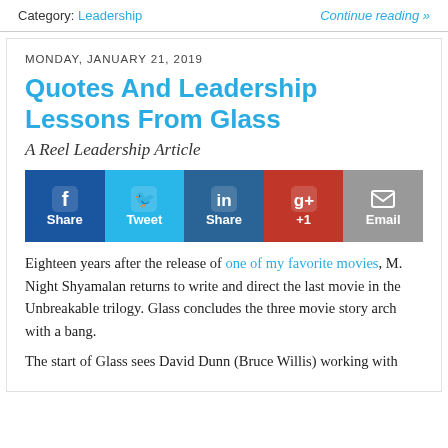Category: Leadership    Continue reading »
MONDAY, JANUARY 21, 2019
Quotes And Leadership Lessons From Glass
A Reel Leadership Article
[Figure (infographic): Social share buttons: Facebook Share, Twitter Tweet, LinkedIn Share, Google+ +1, Email]
Eighteen years after the release of one of my favorite movies, M. Night Shyamalan returns to write and direct the last movie in the Unbreakable trilogy. Glass concludes the three movie story arch with a bang.
The start of Glass sees David Dunn (Bruce Willis) working with